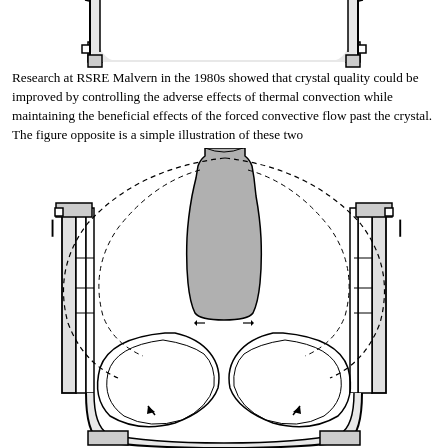[Figure (engineering-diagram): Top portion of a crystal growth furnace cross-section showing the upper part of the vessel with brackets/flanges on left and right sides]
Research at RSRE Malvern in the 1980s showed that crystal quality could be improved by controlling the adverse effects of thermal convection while maintaining the beneficial effects of the forced convective flow past the crystal. The figure opposite is a simple illustration of these two
[Figure (engineering-diagram): Cross-sectional schematic of a crystal growth furnace showing a crystal (gray shaded shape) suspended from the top, with dashed lines indicating thermal convection flow paths curving outward and around the crystal, and solid curved lines at the bottom showing forced convective flow with arrows indicating two counter-rotating vortices. Left and right sides show the furnace walls with brackets.]